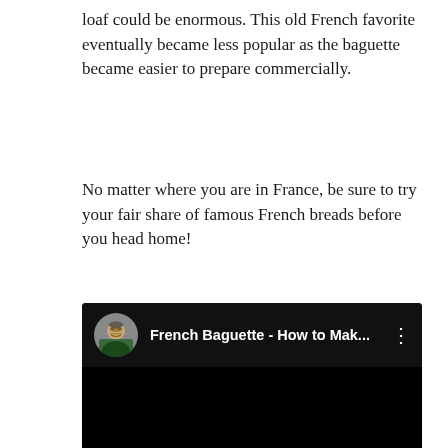loaf could be enormous. This old French favorite eventually became less popular as the baguette became easier to prepare commercially.
No matter where you are in France, be sure to try your fair share of famous French breads before you head home!
[Figure (screenshot): Embedded video player with black background showing title 'French Baguette - How to Mak...' with a circular avatar thumbnail of a person on the left and a three-dot menu icon on the right.]